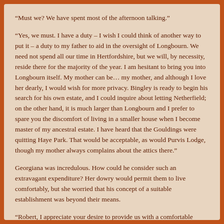“Must we? We have spent most of the afternoon talking.”
“Yes, we must. I have a duty – I wish I could think of another way to put it – a duty to my father to aid in the oversight of Longbourn. We need not spend all our time in Hertfordshire, but we will, by necessity, reside there for the majority of the year. I am hesitant to bring you into Longbourn itself. My mother can be… my mother, and although I love her dearly, I would wish for more privacy. Bingley is ready to begin his search for his own estate, and I could inquire about letting Netherfield; on the other hand, it is much larger than Longbourn and I prefer to spare you the discomfort of living in a smaller house when I become master of my ancestral estate. I have heard that the Gouldings were quitting Haye Park. That would be acceptable, as would Purvis Lodge, though my mother always complains about the attics there.”
Georgiana was incredulous. How could he consider such an extravagant expenditure? Her dowry would permit them to live comfortably, but she worried that his concept of a suitable establishment was beyond their means.
“Robert, I appreciate your desire to provide us with a comfortable